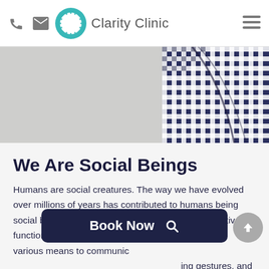Clarity Clinic
[Figure (photo): Close-up photo showing a person wearing a navy blue and white checkered/gingham shirt against a light textured background]
We Are Social Beings
Humans are social creatures. The way we have evolved over millions of years has contributed to humans being social beings and needing social interaction to effectively function. Over the course of time, people have used various means to communic…ing gestures, …ans were